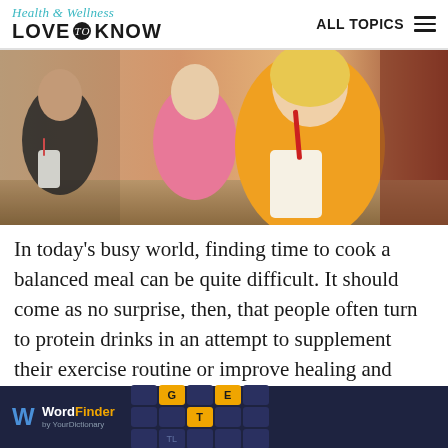Health & Wellness LOVE to KNOW — ALL TOPICS
[Figure (photo): Photo of women drinking protein shakes/smoothies through straws at a counter, in fitness attire]
In today's busy world, finding time to cook a balanced meal can be quite difficult. It should come as no surprise, then, that people often turn to protein drinks in an attempt to supplement their exercise routine or improve healing and recovery. But are these products safe and effective?
[Figure (screenshot): WordFinder by YourDictionary advertisement banner with tile game letters spelling GET]